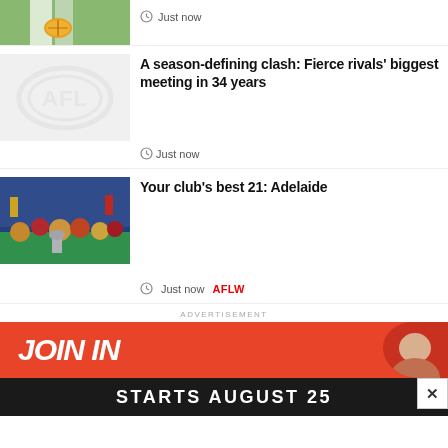[Figure (photo): AFL player holding football, partial view from waist down showing white shorts]
Just now
[Figure (logo): AFL logo placeholder on grey background]
A season-defining clash: Fierce rivals' biggest meeting in 34 years
Just now
[Figure (photo): Adelaide Crows AFLW players celebrating with premiership cup, crowd and MCG in background]
Your club's best 21: Adelaide
Just now  AFLW
ADVERTISEMENT
[Figure (screenshot): Orange advertisement banner reading JOIN IN with a face on the right, and dark bar below reading STARTS AUGUST 25 with close button]